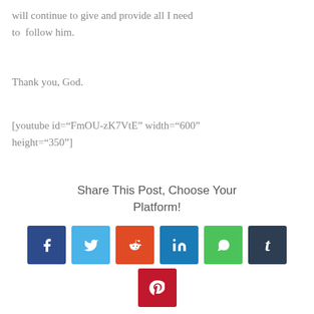will continue to give and provide all I need to  follow him.
Thank you, God.
[youtube id="FmOU-zK7VtE" width="600" height="350"]
Share This Post, Choose Your Platform!
[Figure (infographic): Social media sharing buttons: Facebook, Twitter, Reddit, LinkedIn, WhatsApp, Tumblr, Pinterest, and a scroll-to-top button]